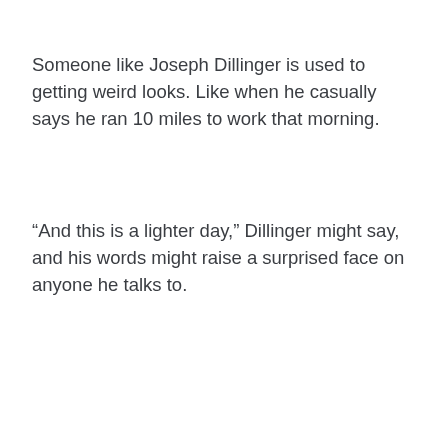Someone like Joseph Dillinger is used to getting weird looks. Like when he casually says he ran 10 miles to work that morning.
“And this is a lighter day,” Dillinger might say, and his words might raise a surprised face on anyone he talks to.